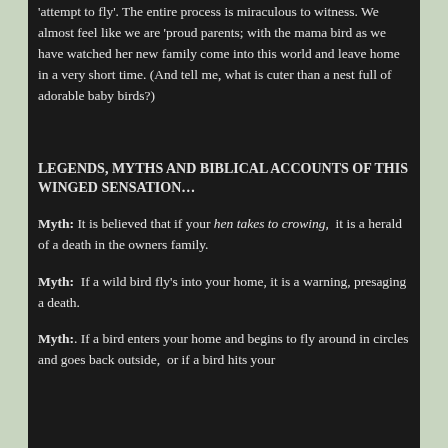'attempt to fly'. The entire process is miraculous to witness. We almost feel like we are 'proud parents; with the mama bird as we have watched her new family come into this world and leave home in a very short time. (And tell me, what is cuter than a nest full of adorable baby birds?)
LEGENDS, MYTHS AND BIBLICAL ACCOUNTS OF THIS WINGED SENSATION…
Myth: It is believed that if your hen takes to crowing,  it is a herald of a death in the owners family.
Myth:  If a wild bird fly's into your home, it is a warning, presaging a death.
Myth:. If a bird enters your home and begins to fly around in circles and goes back outside,  or if a bird hits your